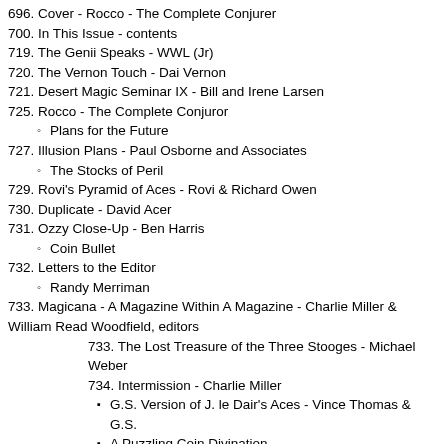696. Cover - Rocco - The Complete Conjurer
700. In This Issue - contents
719. The Genii Speaks - WWL (Jr)
720. The Vernon Touch - Dai Vernon
721. Desert Magic Seminar IX - Bill and Irene Larsen
725. Rocco - The Complete Conjuror
Plans for the Future
727. Illusion Plans - Paul Osborne and Associates
The Stocks of Peril
729. Rovi's Pyramid of Aces - Rovi & Richard Owen
730. Duplicate - David Acer
731. Ozzy Close-Up - Ben Harris
Coin Bullet
732. Letters to the Editor
Randy Merriman
733. Magicana - A Magazine Within A Magazine - Charlie Miller & William Read Woodfield, editors
733. The Lost Treasure of the Three Stooges - Michael Weber
734. Intermission - Charlie Miller
G.S. Version of J. le Dair's Aces - Vince Thomas & G.S.
A Puzzling Coin Divination
735. Cartoon - Paul Butler
736. Absolutely Ogden - Tom Ogden
737. The Reel Works - Pete Biro
738. 25 Years Ago In Genii - Gerrie Larsen Jaffe
739. Le Grand David In Concert - Larcom Theatre - Avrom Surath
741. Close-up Down Under - The Ballarat Close-Up Magic Convention - Tom Ogden